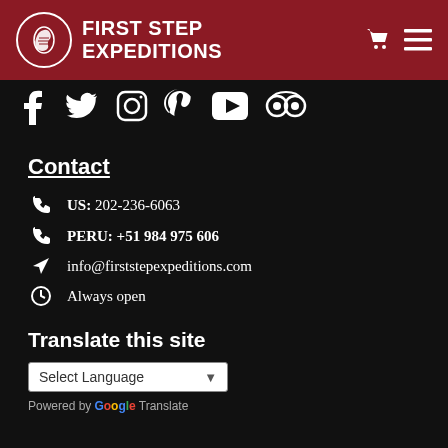FIRST STEP EXPEDITIONS
[Figure (logo): First Step Expeditions logo with boot/footprint circle icon, white on dark red background]
[Figure (infographic): Social media icons row: Facebook, Twitter, Instagram, Pinterest, YouTube, TripAdvisor — white on black background]
Contact
US: 202-236-6063
PERU: +51 984 975 606
info@firststepexpeditions.com
Always open
Translate this site
Select Language
Powered by Google Translate